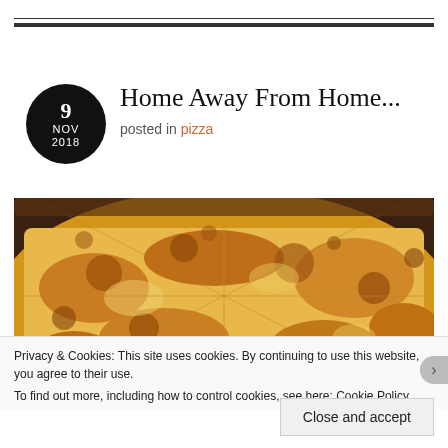Home Away From Home...
posted in pizza
[Figure (photo): Close-up photograph of a cheese pizza with golden-brown melted cheese on top, sliced into pieces, viewed from above.]
Privacy & Cookies: This site uses cookies. By continuing to use this website, you agree to their use.
To find out more, including how to control cookies, see here: Cookie Policy
Close and accept